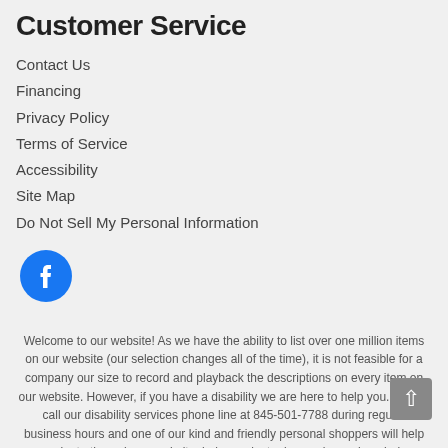Customer Service
Contact Us
Financing
Privacy Policy
Terms of Service
Accessibility
Site Map
Do Not Sell My Personal Information
[Figure (logo): Facebook circular logo icon — blue circle with white 'f' letterform]
Welcome to our website! As we have the ability to list over one million items on our website (our selection changes all of the time), it is not feasible for a company our size to record and playback the descriptions on every item on our website. However, if you have a disability we are here to help you. Please call our disability services phone line at 845-501-7788 during regular business hours and one of our kind and friendly personal shoppers will help you navigate through our website, help conduct advanced searches, help you choose the item you are looking for with the specifications you are seeking, read you the specifications of any item and consult with you about the products themselves. There is no charge for the help of this personal shopper for anyone with a disability. Finally, your personal shopper will explain our Privacy Policy and Terms of Service, and help you place an order if you so desire.